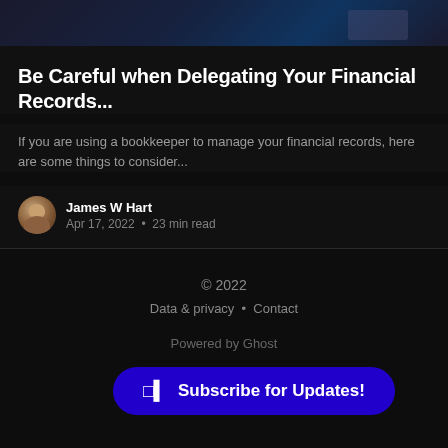[Figure (screenshot): Partial screenshot of a dark-themed dashboard or website header image, cut off at the top]
Be Careful when Delegating Your Financial Records...
If you are using a bookkeeper to manage your financial records, here are some things to consider...
James W Hart
Apr 17, 2022 • 23 min read
© 2022
Data & privacy · Contact
Powered by Ghost
Subscribe for Updates!